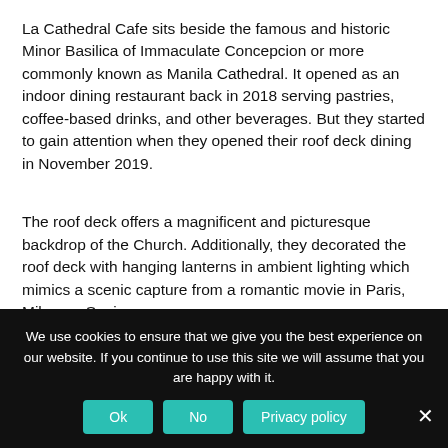La Cathedral Cafe sits beside the famous and historic Minor Basilica of Immaculate Concepcion or more commonly known as Manila Cathedral. It opened as an indoor dining restaurant back in 2018 serving pastries, coffee-based drinks, and other beverages. But they started to gain attention when they opened their roof deck dining in November 2019.
The roof deck offers a magnificent and picturesque backdrop of the Church. Additionally, they decorated the roof deck with hanging lanterns in ambient lighting which mimics a scenic capture from a romantic movie in Paris, Milan, or Spain.
The best time to visit this place starts from sundown. Enjoy the night lights of Manila Cathedral mixed in with the majestic sunset hues and a combination of Filipino comfort food and a cup of coffee. Due to its popularity, the cafe is usually
We use cookies to ensure that we give you the best experience on our website. If you continue to use this site we will assume that you are happy with it.